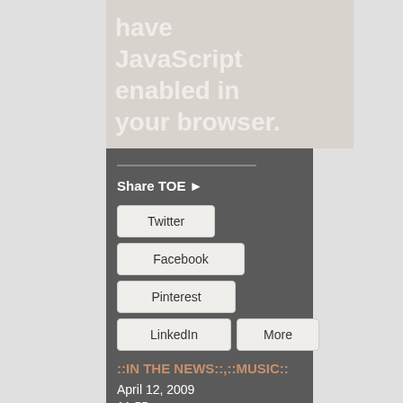have JavaScript enabled in your browser.
Share TOE ►
Twitter
Facebook
Pinterest
LinkedIn
More
::IN THE NEWS::,::MUSIC::
April 12, 2009
11:55 am